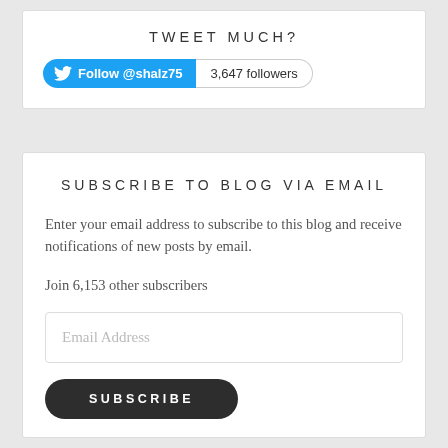TWEET MUCH?
[Figure (infographic): Twitter follow button showing @shalz75 with 3,647 followers badge]
SUBSCRIBE TO BLOG VIA EMAIL
Enter your email address to subscribe to this blog and receive notifications of new posts by email.
Join 6,153 other subscribers
[Figure (other): Email address input field with placeholder text 'Email Address']
[Figure (other): Subscribe button, dark rounded pill shape with text SUBSCRIBE]